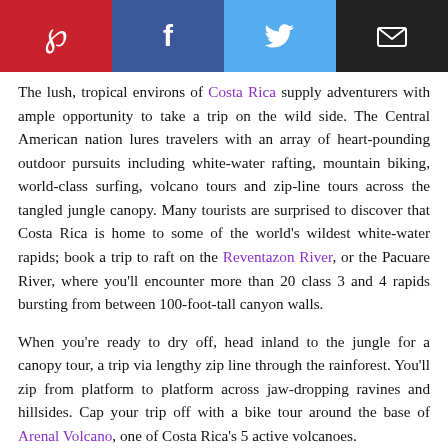[Figure (other): Social sharing bar with Pinterest (red), Facebook (dark blue), Twitter (light blue), and Email (dark/black) buttons with white icons]
The lush, tropical environs of Costa Rica supply adventurers with ample opportunity to take a trip on the wild side. The Central American nation lures travelers with an array of heart-pounding outdoor pursuits including white-water rafting, mountain biking, world-class surfing, volcano tours and zip-line tours across the tangled jungle canopy. Many tourists are surprised to discover that Costa Rica is home to some of the world's wildest white-water rapids; book a trip to raft on the Reventazon River, or the Pacuare River, where you'll encounter more than 20 class 3 and 4 rapids bursting from between 100-foot-tall canyon walls.
When you're ready to dry off, head inland to the jungle for a canopy tour, a trip via lengthy zip line through the rainforest. You'll zip from platform to platform across jaw-dropping ravines and hillsides. Cap your trip off with a bike tour around the base of Arenal Volcano, one of Costa Rica's 5 active volcanoes.